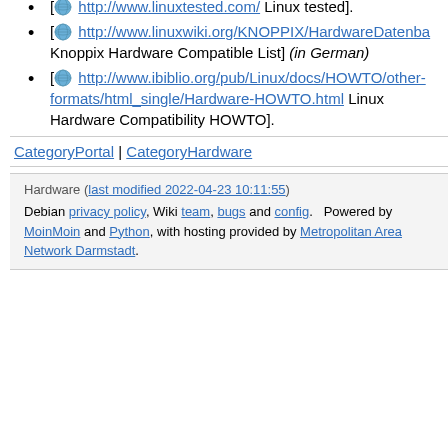[ http://www.linuxtested.com/ Linux tested].
[ http://www.linuxwiki.org/KNOPPIX/HardwareDatenba... Knoppix Hardware Compatible List] (in German)
[ http://www.ibiblio.org/pub/Linux/docs/HOWTO/other-formats/html_single/Hardware-HOWTO.html Linux Hardware Compatibility HOWTO].
CategoryPortal | CategoryHardware
Hardware (last modified 2022-04-23 10:11:55)
Debian privacy policy, Wiki team, bugs and config. Powered by MoinMoin and Python, with hosting provided by Metropolitan Area Network Darmstadt.